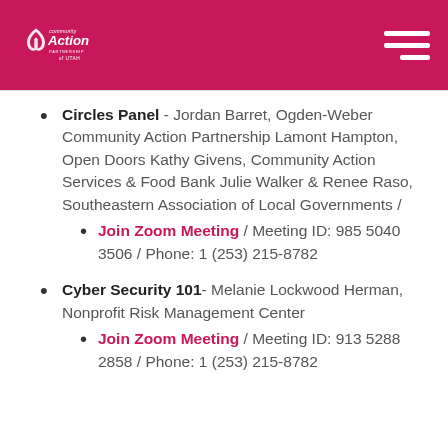Community Action Partnership of Utah
Circles Panel - Jordan Barret, Ogden-Weber Community Action Partnership Lamont Hampton, Open Doors Kathy Givens, Community Action Services & Food Bank Julie Walker & Renee Raso, Southeastern Association of Local Governments / Join Zoom Meeting / Meeting ID: 985 5040 3506 / Phone: 1 (253) 215-8782
Cyber Security 101- Melanie Lockwood Herman, Nonprofit Risk Management Center / Join Zoom Meeting / Meeting ID: 913 5288 2858 / Phone: 1 (253) 215-8782